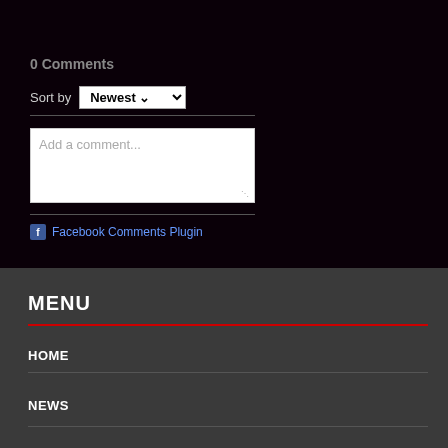0 Comments
Sort by Newest
[Figure (screenshot): Comment input box with placeholder text 'Add a comment...' on dark background]
Facebook Comments Plugin
MENU
HOME
NEWS